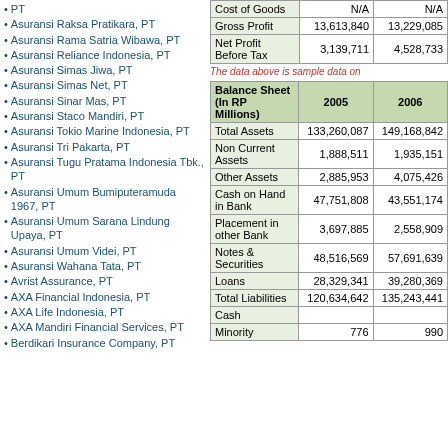PT
Asuransi Raksa Pratikara, PT
Asuransi Rama Satria Wibawa, PT
Asuransi Reliance Indonesia, PT
Asuransi Simas Jiwa, PT
Asuransi Simas Net, PT
Asuransi Sinar Mas, PT
Asuransi Staco Mandiri, PT
Asuransi Tokio Marine Indonesia, PT
Asuransi Tri Pakarta, PT
Asuransi Tugu Pratama Indonesia Tbk., PT
Asuransi Umum Bumiputeramuda 1967, PT
Asuransi Umum Sarana Lindung Upaya, PT
Asuransi Umum Videi, PT
Asuransi Wahana Tata, PT
Avrist Assurance, PT
AXA Financial Indonesia, PT
AXA Life Indonesia, PT
AXA Mandiri Financial Services, PT
Berdikari Insurance Company, PT
|  | 2005 | 2006 |
| --- | --- | --- |
| Cost of Goods | N/A | N/A |
| Gross Profit | 13,613,840 | 13,229,085 |
| Net Profit Before Tax | 3,139,711 | 4,528,733 |
The data above is sample data on
| Balance Sheet (In RP Millions) | 2005 | 2006 |
| --- | --- | --- |
| Total Assets | 133,260,087 | 149,168,842 |
| Non Current Assets | 1,888,511 | 1,935,151 |
| Other Assets | 2,885,953 | 4,075,426 |
| Cash on Hand in Bank | 47,751,808 | 43,551,174 |
| Placement in other Bank | 3,697,885 | 2,558,909 |
| Notes & Securities | 48,516,569 | 57,691,639 |
| Loans | 28,329,341 | 39,280,369 |
| Total Liabilities | 120,634,642 | 135,243,441 |
| Cash |  |  |
| Minority | 776 | 990 |